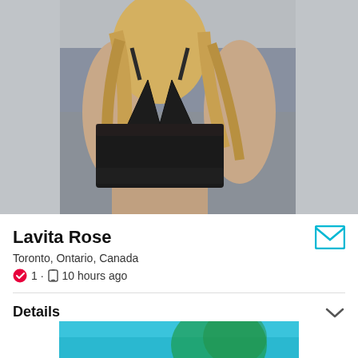[Figure (photo): Profile photo of a blonde woman in black lingerie top, photographed from shoulders down against a blurred background]
Lavita Rose
Toronto, Ontario, Canada
1 · 10 hours ago
Details
[Figure (photo): Bottom thumbnail photo, teal/cyan colored image partially visible]